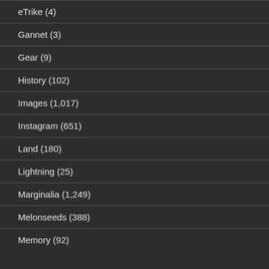eTrike (4)
Gannet (3)
Gear (9)
History (102)
Images (1,017)
Instagram (651)
Land (180)
Lightning (25)
Marginalia (1,249)
Melonseeds (388)
Memory (92)